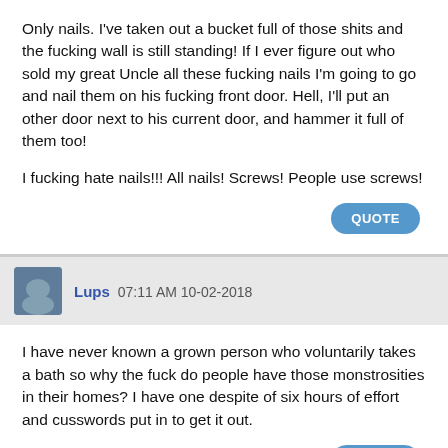Only nails. I've taken out a bucket full of those shits and the fucking wall is still standing! If I ever figure out who sold my great Uncle all these fucking nails I'm going to go and nail them on his fucking front door. Hell, I'll put an other door next to his current door, and hammer it full of them too!
I fucking hate nails!!! All nails! Screws! People use screws!
QUOTE
Lups 07:11 AM 10-02-2018
I have never known a grown person who voluntarily takes a bath so why the fuck do people have those monstrosities in their homes? I have one despite of six hours of effort and cusswords put in to get it out.
QUOTE